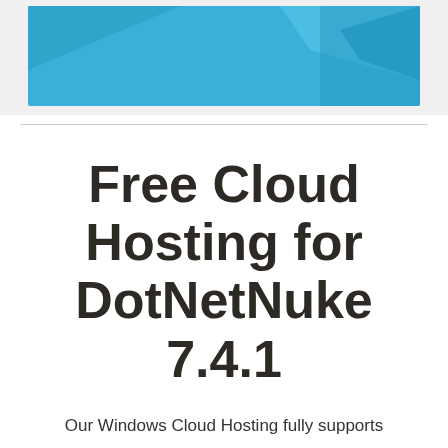[Figure (illustration): Blue cloud/sky graphic banner image at top of page with geometric shapes in shades of blue and teal]
Free Cloud Hosting for DotNetNuke 7.4.1
Our Windows Cloud Hosting fully supports